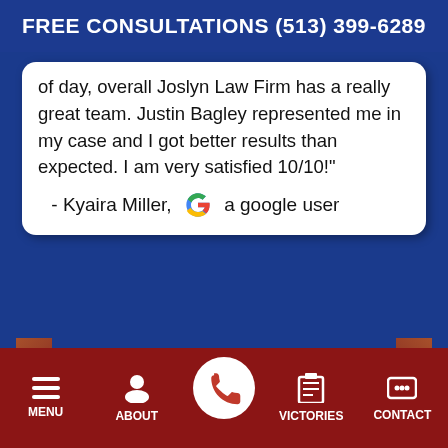FREE CONSULTATIONS (513) 399-6289
of day, overall Joslyn Law Firm has a really great team. Justin Bagley represented me in my case and I got better results than expected. I am very satisfied 10/10!" - Kyaira Miller, a google user
READ MORE CLIENT TESTIMONIALS
MENU  ABOUT  VICTORIES  CONTACT